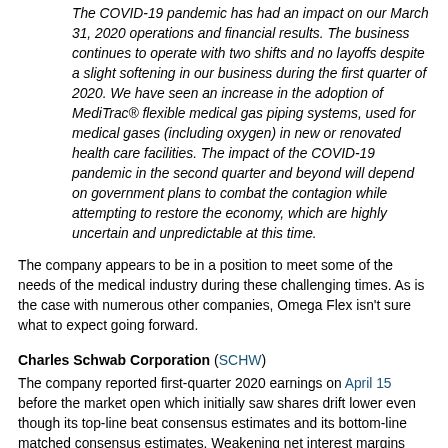The COVID-19 pandemic has had an impact on our March 31, 2020 operations and financial results. The business continues to operate with two shifts and no layoffs despite a slight softening in our business during the first quarter of 2020. We have seen an increase in the adoption of MediTrac® flexible medical gas piping systems, used for medical gases (including oxygen) in new or renovated health care facilities. The impact of the COVID-19 pandemic in the second quarter and beyond will depend on government plans to combat the contagion while attempting to restore the economy, which are highly uncertain and unpredictable at this time.
The company appears to be in a position to meet some of the needs of the medical industry during these challenging times. As is the case with numerous other companies, Omega Flex isn't sure what to expect going forward.
Charles Schwab Corporation (SCHW)
The company reported first-quarter 2020 earnings on April 15 before the market open which initially saw shares drift lower even though its top-line beat consensus estimates and its bottom-line matched consensus estimates. Weakening net interest margins ('NIMs') weighed on the firm's performance, with its net interest revenue declining by 6% year...